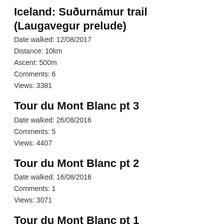Iceland: Suðurnámur trail (Laugavegur prelude)
Date walked: 12/08/2017
Distance: 10km
Ascent: 500m
Comments: 6
Views: 3381
Tour du Mont Blanc pt 3
Date walked: 26/08/2016
Comments: 5
Views: 4407
Tour du Mont Blanc pt 2
Date walked: 16/08/2016
Comments: 1
Views: 3071
Tour du Mont Blanc pt 1
Date walked: 11/08/2016
Comments: 2
Views: 3468